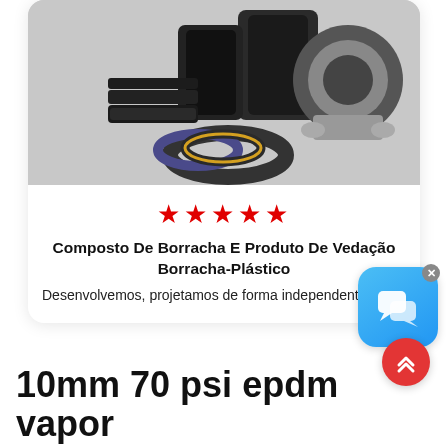[Figure (photo): Product photo showing rubber compound and sealing products including rubber rolls, o-rings, and a metal flange coupling]
★★★★★
Composto De Borracha E Produto De Vedação Borracha-Plástico
Desenvolvemos, projetamos de forma independente...
[Figure (other): Chat support bubble icon (blue rounded square with speech bubbles)]
[Figure (other): Scroll to top button (red circle with double up chevron arrows)]
10mm 70 psi epdm vapor